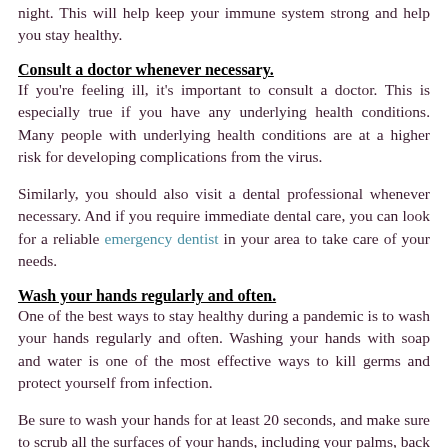night. This will help keep your immune system strong and help you stay healthy.
Consult a doctor whenever necessary.
If you're feeling ill, it's important to consult a doctor. This is especially true if you have any underlying health conditions. Many people with underlying health conditions are at a higher risk for developing complications from the virus.
Similarly, you should also visit a dental professional whenever necessary. And if you require immediate dental care, you can look for a reliable emergency dentist in your area to take care of your needs.
Wash your hands regularly and often.
One of the best ways to stay healthy during a pandemic is to wash your hands regularly and often. Washing your hands with soap and water is one of the most effective ways to kill germs and protect yourself from infection.
Be sure to wash your hands for at least 20 seconds, and make sure to scrub all the surfaces of your hands, including your palms, back